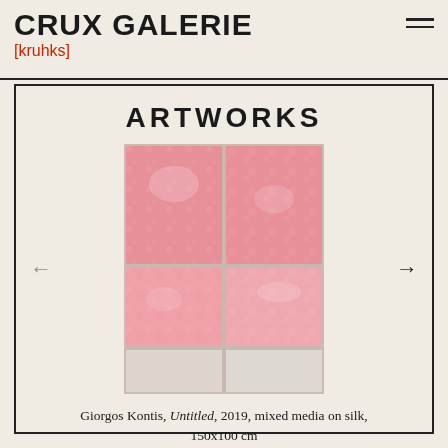CRUX GALERIE [kruhks]
ARTWORKS
[Figure (photo): Abstract artwork showing a 2x3 grid of pink/rose colored translucent panels on silk, with the bottom row appearing lighter/white, by Giorgos Kontis]
Giorgos Kontis, Untitled, 2019, mixed media on silk, 150x100 cm